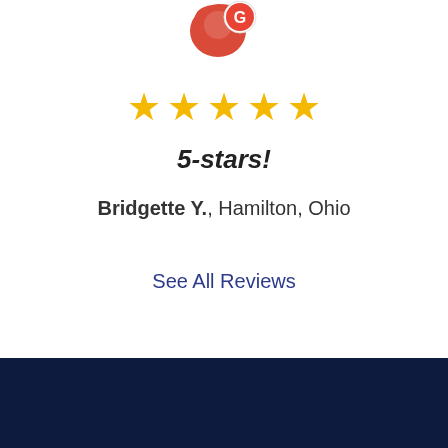[Figure (logo): Google review badge: red location pin icon with white G letter]
[Figure (infographic): Five gold star rating icons in a row]
5-stars!
Bridgette Y., Hamilton, Ohio
See All Reviews
[Figure (other): Dark navy blue footer bar]